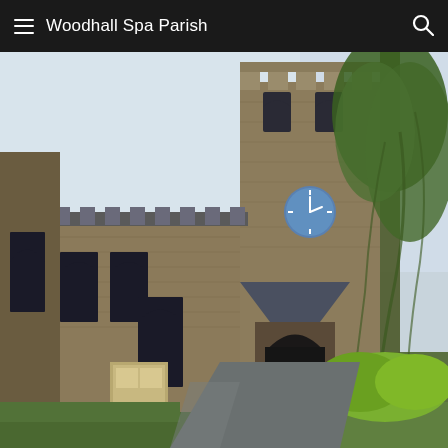Woodhall Spa Parish
[Figure (photo): Photograph of a historic stone parish church building with a square tower featuring a blue clock face, Gothic arched doorway with a wooden porch canopy, pointed arch windows, and surrounding green trees and lawn. The church is built from rough-cut limestone blocks.]